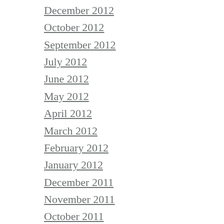December 2012
October 2012
September 2012
July 2012
June 2012
May 2012
April 2012
March 2012
February 2012
January 2012
December 2011
November 2011
October 2011
September 2011
August 2011